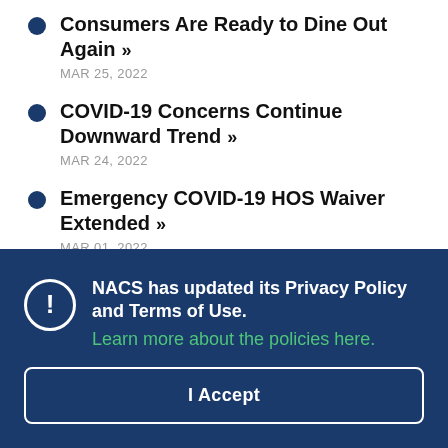Consumers Are Ready to Dine Out Again »
MAR 25, 2022
COVID-19 Concerns Continue Downward Trend »
MAR 24, 2022
Emergency COVID-19 HOS Waiver Extended »
MAR 01, 2022
NACS has updated its Privacy Policy and Terms of Use. Learn more about the policies here.
I Accept